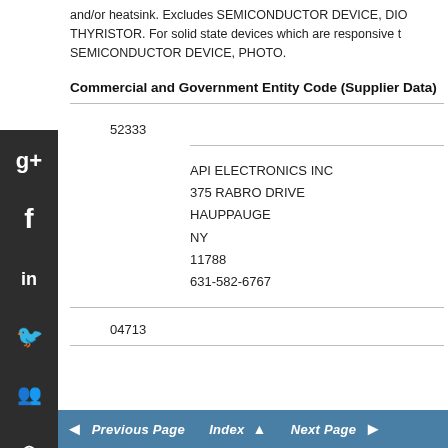and/or heatsink. Excludes SEMICONDUCTOR DEVICE, DIO THYRISTOR. For solid state devices which are responsive t SEMICONDUCTOR DEVICE, PHOTO.
Commercial and Government Entity Code (Supplier Data)
52333
API ELECTRONICS INC
375 RABRO DRIVE
HAUPPAUGE
NY
11788
631-582-6767
04713
◄ Previous Page   Index ▲   Next Page ►